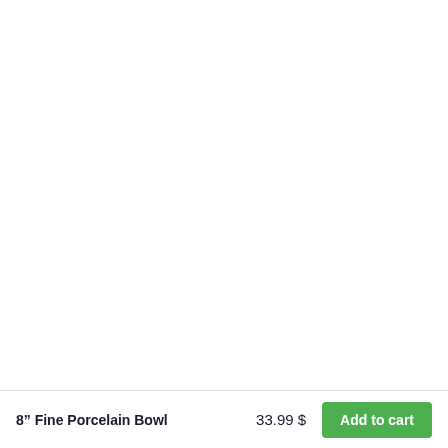[Figure (photo): Product image area for 8" Fine Porcelain Bowl — white/blank background]
8" Fine Porcelain Bowl
33.99 $
Add to cart